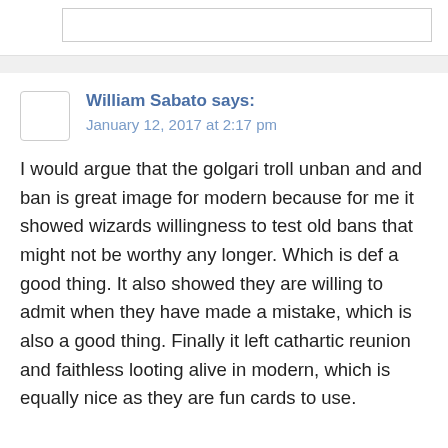[Figure (other): Top input/form box area]
William Sabato says:
January 12, 2017 at 2:17 pm
I would argue that the golgari troll unban and and ban is great image for modern because for me it showed wizards willingness to test old bans that might not be worthy any longer. Which is def a good thing. It also showed they are willing to admit when they have made a mistake, which is also a good thing. Finally it left cathartic reunion and faithless looting alive in modern, which is equally nice as they are fun cards to use.